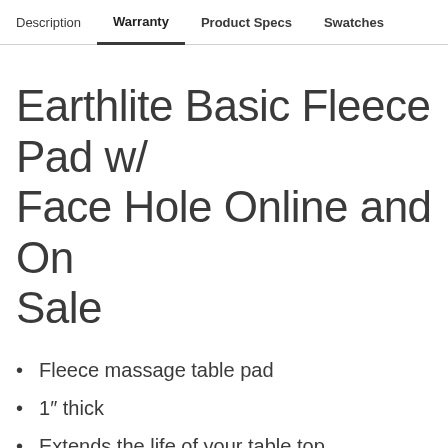Description  Warranty  Product Specs  Swatches
Earthlite Basic Fleece Pad w/ Face Hole Online and On Sale
Fleece massage table pad
1″ thick
Extends the life of your table top
Elastic corner straps prevent slipping